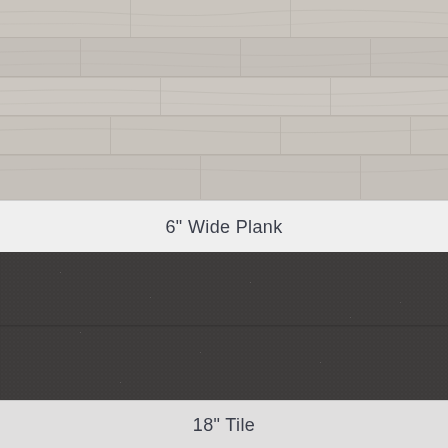[Figure (photo): Light gray wood-look vinyl plank flooring with horizontal plank pattern showing wood grain texture]
6" Wide Plank
[Figure (photo): Dark charcoal gray woven textile-look vinyl tile flooring with fine crosshatch texture]
18" Tile